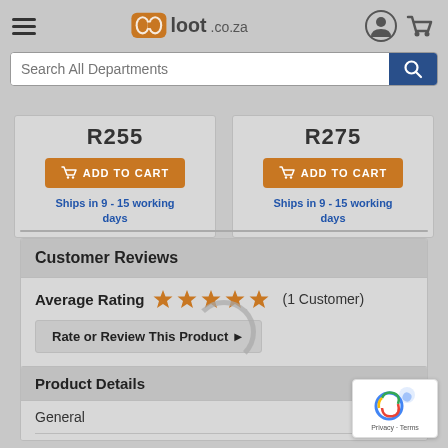loot.co.za — Search All Departments
R255
ADD TO CART
Ships in 9 - 15 working days
R275
ADD TO CART
Ships in 9 - 15 working days
Customer Reviews
Average Rating ★★★★★ (1 Customer)
Rate or Review This Product ▶
Product Details
General